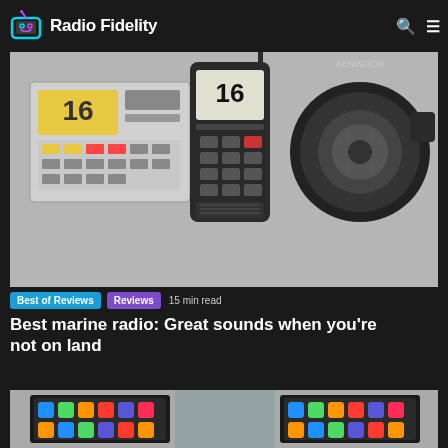Radio Fidelity
[Figure (photo): Marine radio equipment photo showing a fixed VHF marine radio unit displaying channel 16, a handheld VHF radio displaying 16, and a round marine speaker on a grey background]
Best of Reviews  Reviews  15 min read
Best marine radio: Great sounds when you're not on land
[Figure (photo): Partial image of a double-DIN car stereo comparison showing two units with touchscreen displays showing iOS/CarPlay interface]